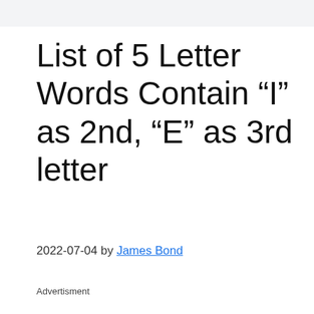List of 5 Letter Words Contain “I” as 2nd, “E” as 3rd letter
2022-07-04 by James Bond
Advertisment